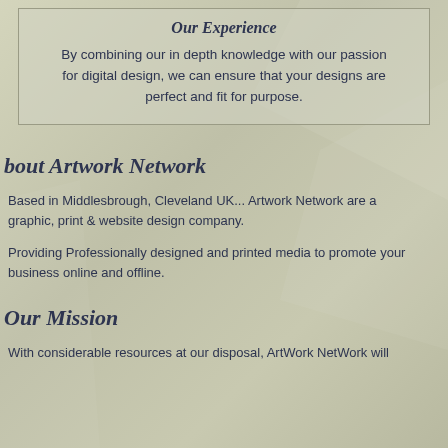Our Experience
By combining our in depth knowledge with our passion for digital design, we can ensure that your designs are perfect and fit for purpose.
bout Artwork Network
Based in Middlesbrough, Cleveland UK... Artwork Network are a graphic, print & website design company.
Providing Professionally designed and printed media to promote your business online and offline.
Our Mission
With considerable resources at our disposal, ArtWork NetWork will